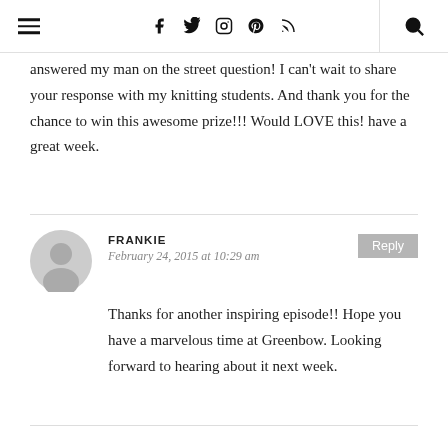[Navigation: hamburger menu, social icons (Facebook, Twitter, Instagram, Pinterest, RSS), search icon]
answered my man on the street question! I can't wait to share your response with my knitting students. And thank you for the chance to win this awesome prize!!! Would LOVE this! have a great week.
FRANKIE
February 24, 2015 at 10:29 am
Thanks for another inspiring episode!! Hope you have a marvelous time at Greenbow. Looking forward to hearing about it next week.